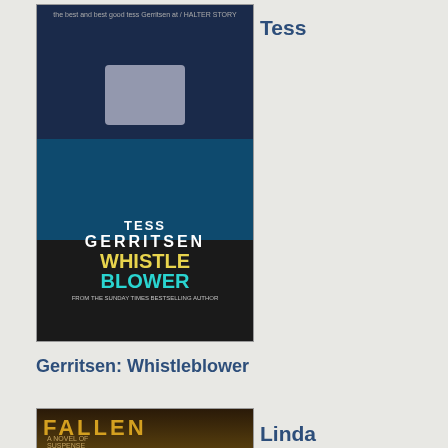[Figure (photo): Book cover: Tess Gerritsen - Whistleblower]
Tess
Gerritsen: Whistleblower
[Figure (photo): Book cover: Linda Castillo - Fallen]
Linda Castillo: Fallen (Kate
Burkholder)
[Figure (photo): Book cover: Peter Lovesey - Killing]
Peter Lovesey: Killing